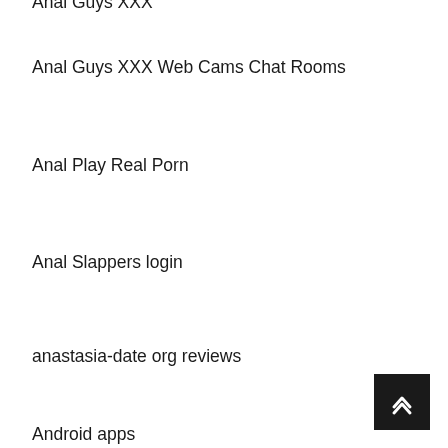Anal Guys XXX
Anal Guys XXX Web Cams Chat Rooms
Anal Play Real Porn
Anal Slappers login
anastasia-date org reviews
anastasiadate app
anastasiadate avis
Anastasiadate review
anchorage escort
anchorage escort index
anchorage escort radar
Android apps